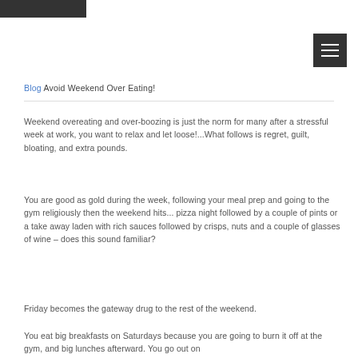[Figure (logo): Dark rectangle logo bar in top-left]
[Figure (other): Hamburger menu button (three horizontal lines) in dark square, top-right]
Blog Avoid Weekend Over Eating!
Weekend overeating and over-boozing is just the norm for many after a stressful week at work, you want to relax and let loose!...What follows is regret, guilt, bloating, and extra pounds.
You are good as gold during the week, following your meal prep and going to the gym religiously then the weekend hits... pizza night followed by a couple of pints or a take away laden with rich sauces followed by crisps, nuts and a couple of glasses of wine – does this sound familiar?
Friday becomes the gateway drug to the rest of the weekend.
You eat big breakfasts on Saturdays because you are going to burn it off at the gym, and big lunches afterward. You go out on